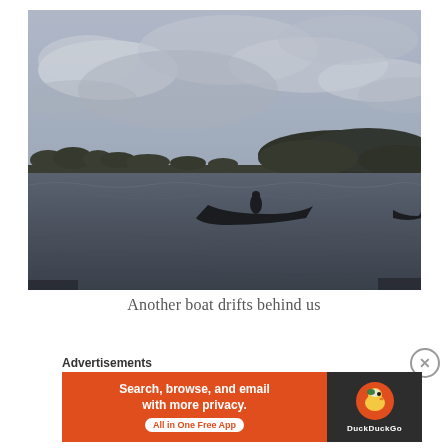[Figure (photo): Outdoor lake or loch scene on a cloudy, overcast day. A small rowing boat with a person in it is visible in the middle distance on choppy, dark water. The background shows a low treeline and hills under a grey sky with dramatic clouds.]
Another boat drifts behind us
Advertisements
[Figure (screenshot): DuckDuckGo advertisement banner. Left orange section reads 'Search, browse, and email with more privacy. All in One Free App'. Right dark section shows the DuckDuckGo duck logo and brand name.]